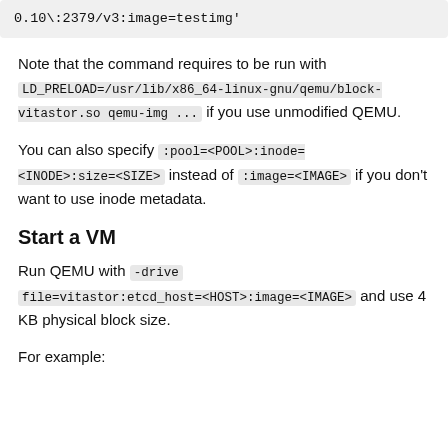0.10\:2379/v3:image=testimg'
Note that the command requires to be run with LD_PRELOAD=/usr/lib/x86_64-linux-gnu/qemu/block-vitastor.so qemu-img ... if you use unmodified QEMU.
You can also specify :pool=<POOL>:inode=<INODE>:size=<SIZE> instead of :image=<IMAGE> if you don't want to use inode metadata.
Start a VM
Run QEMU with -drive file=vitastor:etcd_host=<HOST>:image=<IMAGE> and use 4 KB physical block size.
For example: